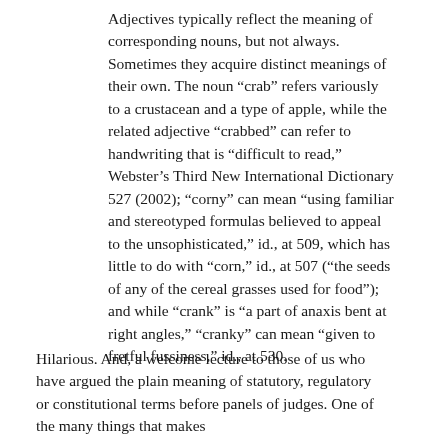Adjectives typically reflect the meaning of corresponding nouns, but not always. Sometimes they acquire distinct meanings of their own. The noun “crab” refers variously to a crustacean and a type of apple, while the related adjective “crabbed” can refer to handwriting that is “difficult to read,” Webster’s Third New International Dictionary 527 (2002); “corny” can mean “using familiar and stereotyped formulas believed to appeal to the unsophisticated,” id., at 509, which has little to do with “corn,” id., at 507 (“the seeds of any of the cereal grasses used for food”); and while “crank” is “a part of anaxis bent at right angles,” “cranky” can mean “given to fretful fussiness,” id., at 530.
Hilarious. And, a welcome lecture to those of us who have argued the plain meaning of statutory, regulatory or constitutional terms before panels of judges. One of the many things that makes